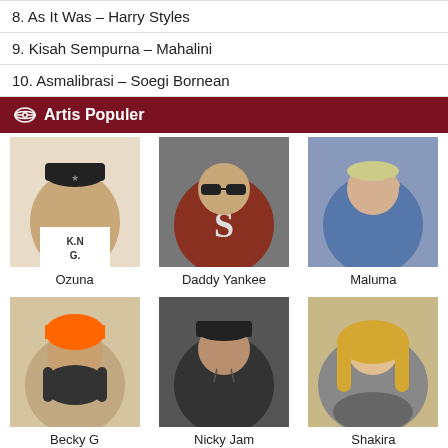8. As It Was – Harry Styles
9. Kisah Sempurna – Mahalini
10. Asmalibrasi – Soegi Bornean
Artis Populer
[Figure (photo): 6 artist photos in a 3x2 grid: Ozuna, Daddy Yankee, Maluma (top row); Becky G, Nicky Jam, Shakira (bottom row)]
Ozuna
Daddy Yankee
Maluma
Becky G
Nicky Jam
Shakira